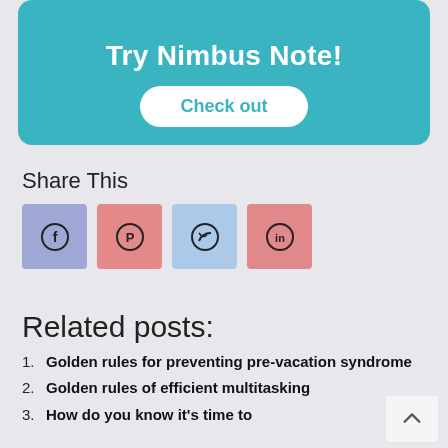[Figure (other): Teal promotional banner with 'Try Nimbus Note!' text and a white rounded 'Check out' button]
Share This
[Figure (infographic): Social share icons: Facebook (purple-blue), Pinterest (pink-red), Twitter (light blue), LinkedIn (pink-red)]
Related posts:
Golden rules for preventing pre-vacation syndrome
Golden rules of efficient multitasking
How do you know it's time to